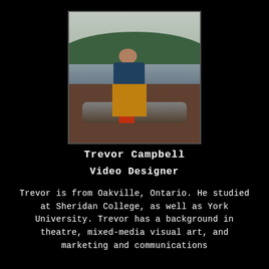[Figure (photo): Person sitting on a boat deck with yellow fishing overalls and dark jacket, arms crossed, mountains and water in background]
Trevor Campbell
Video Designer
Trevor is from Oakville, Ontario. He studied at Sheridan College, as well as York University. Trevor has a background in theatre, mixed-media visual art, and marketing and communications